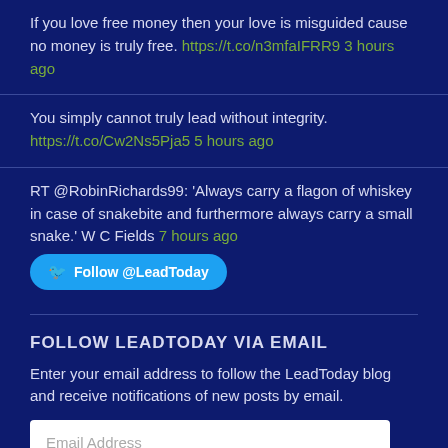If you love free money then your love is misguided cause no money is truly free. https://t.co/n3mfaIFRR9 3 hours ago
You simply cannot truly lead without integrity. https://t.co/Cw2Ns5Pja5 5 hours ago
RT @RobinRichards99: 'Always carry a flagon of whiskey in case of snakebite and furthermore always carry a small snake.' W C Fields 7 hours ago
Follow @LeadToday
FOLLOW LEADTODAY VIA EMAIL
Enter your email address to follow the LeadToday blog and receive notifications of new posts by email.
Email Address